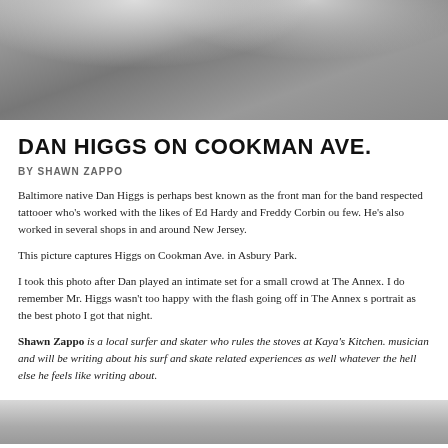[Figure (photo): Black and white photo of Dan Higgs, cropped showing torso with quilted vest, top portion only visible]
DAN HIGGS ON COOKMAN AVE.
BY SHAWN ZAPPO
Baltimore native Dan Higgs is perhaps best known as the front man for the band respected tattooer who's worked with the likes of Ed Hardy and Freddy Corbin ou few. He's also worked in several shops in and around New Jersey.
This picture captures Higgs on Cookman Ave. in Asbury Park.
I took this photo after Dan played an intimate set for a small crowd at The Annex. I do remember Mr. Higgs wasn't too happy with the flash going off in The Annex s portrait as the best photo I got that night.
Shawn Zappo is a local surfer and skater who rules the stoves at Kaya's Kitchen. musician and will be writing about his surf and skate related experiences as well whatever the hell else he feels like writing about.
[Figure (photo): Black and white photo at the bottom, partially visible, appears to be another photograph]